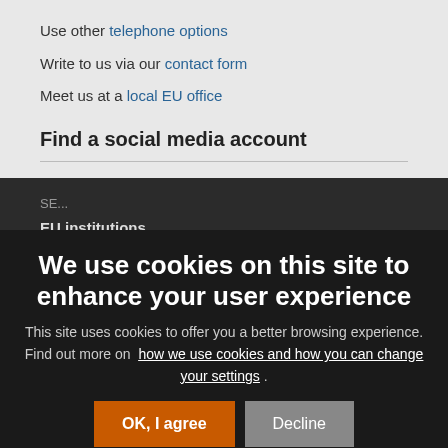Use other telephone options
Write to us via our contact form
Meet us at a local EU office
Find a social media account
SE...
EU institutions
Search for EU institutions
Last published 10/10/2019
Work for the EU   Latest news
We use cookies on this site to enhance your user experience
This site uses cookies to offer you a better browsing experience. Find out more on how we use cookies and how you can change your settings .